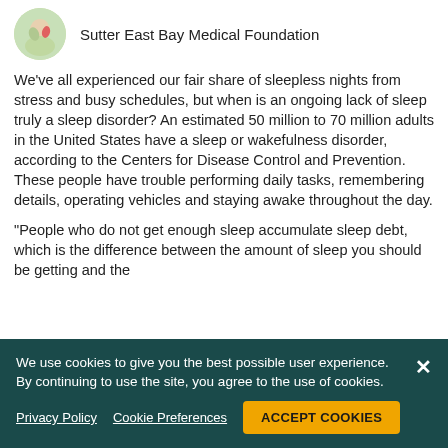Sutter East Bay Medical Foundation
We've all experienced our fair share of sleepless nights from stress and busy schedules, but when is an ongoing lack of sleep truly a sleep disorder? An estimated 50 million to 70 million adults in the United States have a sleep or wakefulness disorder, according to the Centers for Disease Control and Prevention. These people have trouble performing daily tasks, remembering details, operating vehicles and staying awake throughout the day.
"People who do not get enough sleep accumulate sleep debt, which is the difference between the amount of sleep you should be getting and the
We use cookies to give you the best possible user experience. By continuing to use the site, you agree to the use of cookies.
Privacy Policy   Cookie Preferences   ACCEPT COOKIES